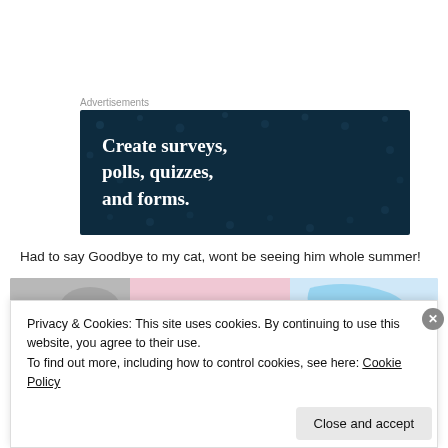Advertisements
[Figure (illustration): Dark navy advertisement banner with white serif bold text reading 'Create surveys, polls, quizzes, and forms.' with decorative dot pattern background.]
Had to say Goodbye to my cat, wont be seeing him whole summer!
[Figure (photo): Partial photo strip showing colorful illustrated or artistic imagery in pink and blue tones.]
Privacy & Cookies: This site uses cookies. By continuing to use this website, you agree to their use.
To find out more, including how to control cookies, see here: Cookie Policy
Close and accept